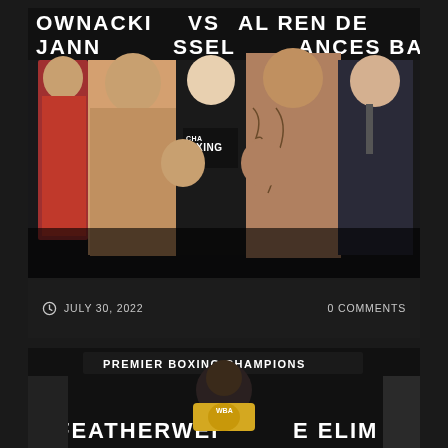[Figure (photo): Two boxers facing off at a weigh-in for Showtime Championship Boxing. Several officials and corner men stand behind them. A 'Championship Boxing' banner is visible in the background.]
SHOWTIME CHAMPIONSHIP BOXING: 7/30 LIVE RESULTS
JULY 30, 2022    0 COMMENTS
[Figure (photo): A boxer poses holding a WBA belt in front of a Premier Boxing Champions backdrop. The banner reads 'R FEATHERWEIGH' and 'E ELIM' (WBA featherweight eliminator).]